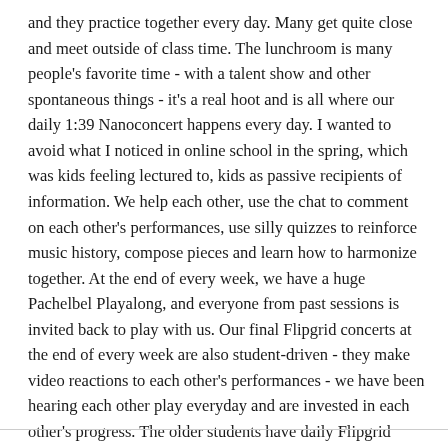and they practice together every day. Many get quite close and meet outside of class time. The lunchroom is many people's favorite time - with a talent show and other spontaneous things - it's a real hoot and is all where our daily 1:39 Nanoconcert happens every day. I wanted to avoid what I noticed in online school in the spring, which was kids feeling lectured to, kids as passive recipients of information. We help each other, use the chat to comment on each other's performances, use silly quizzes to reinforce music history, compose pieces and learn how to harmonize together. At the end of every week, we have a huge Pachelbel Playalong, and everyone from past sessions is invited back to play with us. Our final Flipgrid concerts at the end of every week are also student-driven - they make video reactions to each other's performances - we have been hearing each other play everyday and are invested in each other's progress. The older students have daily Flipgrid assignments which are commented on by faculty.